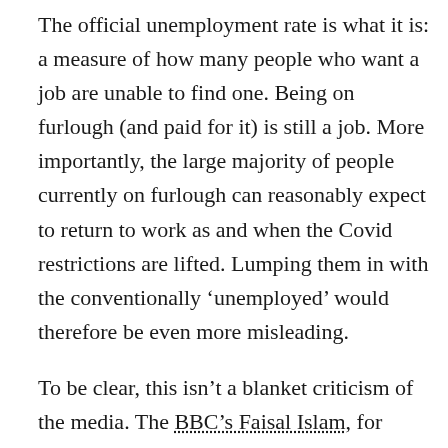The official unemployment rate is what it is: a measure of how many people who want a job are unable to find one. Being on furlough (and paid for it) is still a job. More importantly, the large majority of people currently on furlough can reasonably expect to return to work as and when the Covid restrictions are lifted. Lumping them in with the conventionally ‘unemployed’ would therefore be even more misleading.
To be clear, this isn’t a blanket criticism of the media. The BBC’s Faisal Islam, for example, did note that November’s unemployment rate is still low by international standards, and lower than had been expected. The Financial Times led with ‘UK job losses slow as furlough scheme helps limit unemployment rise’. The Times included a solid quotation from the economist Samuel Tombs making a similar point to mine. I’m sure there are other examples I’ve come across.